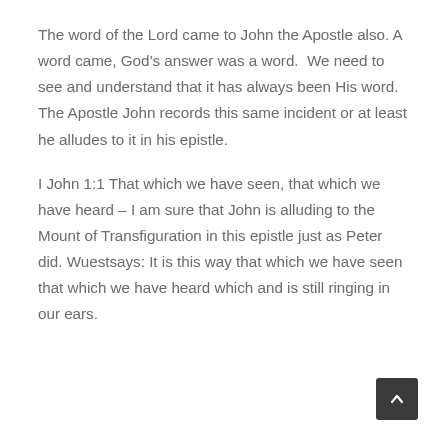The word of the Lord came to John the Apostle also. A word came, God's answer was a word.  We need to see and understand that it has always been His word.  The Apostle John records this same incident or at least he alludes to it in his epistle.
I John 1:1 That which we have seen, that which we have heard – I am sure that John is alluding to the Mount of Transfiguration in this epistle just as Peter did. Wuestsays: It is this way that which we have seen that which we have heard which and is still ringing in our ears.